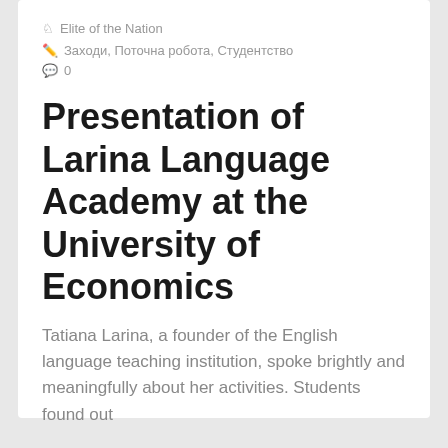Elite of the Nation
Заходи, Поточна робота, Студентство
0
Presentation of Larina Language Academy at the University of Economics
Tatiana Larina, a founder of the English language teaching institution, spoke brightly and meaningfully about her activities. Students found out
READ MORE